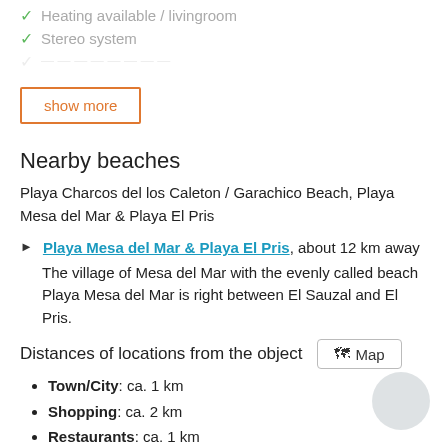✓ Heating available / livingroom
✓ Stereo system
(faded item)
show more
Nearby beaches
Playa Charcos del los Caleton / Garachico Beach, Playa Mesa del Mar & Playa El Pris
Playa Mesa del Mar & Playa El Pris, about 12 km away
The village of Mesa del Mar with the evenly called beach Playa Mesa del Mar is right between El Sauzal and El Pris.
Distances of locations from the object
Town/City: ca. 1 km
Shopping: ca. 2 km
Restaurants: ca. 1 km